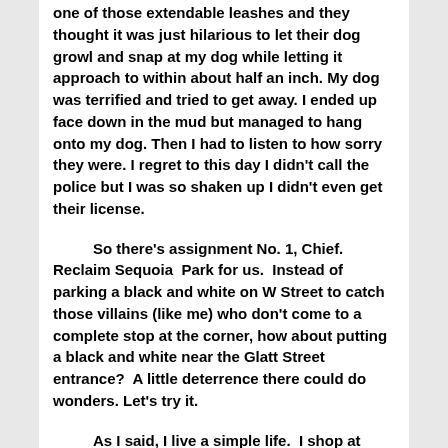one of those extendable leashes and they thought it was just hilarious to let their dog growl and snap at my dog while letting it approach to within about half an inch. My dog was terrified and tried to get away. I ended up face down in the mud but managed to hang onto my dog. Then I had to listen to how sorry they were. I regret to this day I didn't call the police but I was so shaken up I didn't even get their license.
So there's assignment No. 1, Chief. Reclaim Sequoia Park for us. Instead of parking a black and white on W Street to catch those villains (like me) who don't come to a complete stop at the corner, how about putting a black and white near the Glatt Street entrance? A little deterrence there could do wonders. Let's try it.
As I said, I live a simple life. I shop at Winco at least twice a month but now that people are being carjacked in the Winco parking lot in broad daylight, it doesn't seem as welcoming as it used to. Or as safe. Can you help us with ensuring folks can patronize our